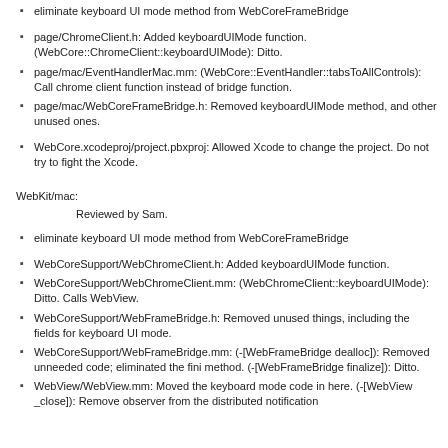eliminate keyboard UI mode method from WebCoreFrameBridge
page/ChromeClient.h: Added keyboardUIMode function. (WebCore::ChromeClient::keyboardUIMode): Ditto.
page/mac/EventHandlerMac.mm: (WebCore::EventHandler::tabsToAllControls): Call chrome client function instead of bridge function.
page/mac/WebCoreFrameBridge.h: Removed keyboardUIMode method, and other unused ones.
WebCore.xcodeproj/project.pbxproj: Allowed Xcode to change the project. Do not try to fight the Xcode.
WebKit/mac:
Reviewed by Sam.
eliminate keyboard UI mode method from WebCoreFrameBridge
WebCoreSupport/WebChromeClient.h: Added keyboardUIMode function.
WebCoreSupport/WebChromeClient.mm: (WebChromeClient::keyboardUIMode): Ditto. Calls WebView.
WebCoreSupport/WebFrameBridge.h: Removed unused things, including the fields for keyboard UI mode.
WebCoreSupport/WebFrameBridge.mm: (-[WebFrameBridge dealloc]): Removed unneeded code; eliminated the fini method. (-[WebFrameBridge finalize]): Ditto.
WebView/WebView.mm: Moved the keyboard mode code in here. (-[WebView _close]): Remove observer from the distributed notification